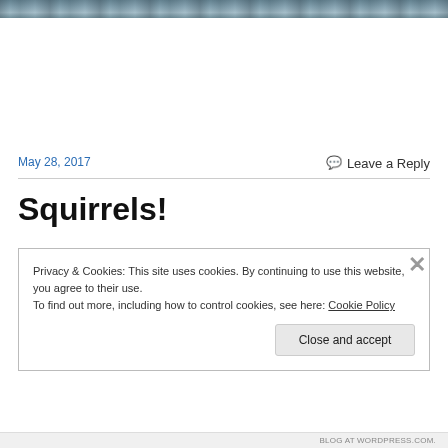[Figure (photo): Partial photo strip at top of page showing water/outdoor scene in blue-grey tones]
May 28, 2017
Leave a Reply
Squirrels!
Privacy & Cookies: This site uses cookies. By continuing to use this website, you agree to their use.
To find out more, including how to control cookies, see here: Cookie Policy
Close and accept
BLOG AT WORDPRESS.COM.